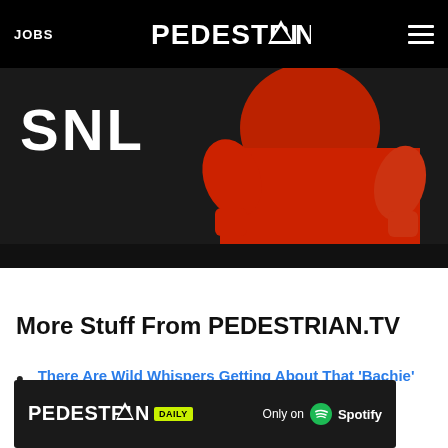JOBS | PEDESTRIAN | menu
[Figure (photo): SNL hero image with person in red sweater against dark background]
More Stuff From PEDESTRIAN.TV
There Are Wild Whispers Getting About That 'Bachie' Matt's Gonna Chuck A Blake Garvey
Bachelor in...
[Figure (logo): PEDESTRIAN DAILY - Only on Spotify advertisement banner]